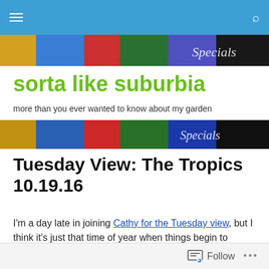sorta like suburbia
more than you ever wanted to know about my garden
Tuesday View: The Tropics 10.19.16
I'm a day late in joining Cathy for the Tuesday view, but I think it's just that time of year when things begin to unravel and go to seed so hopefully my tardiness will be forgiven. Here it is!
Follow